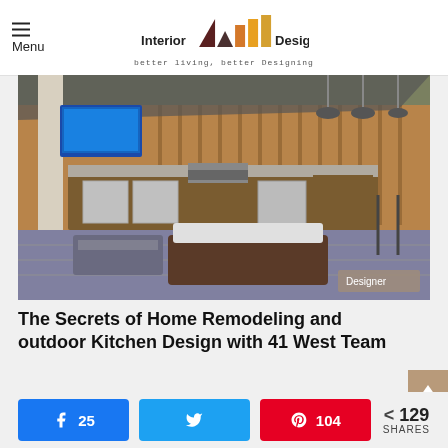Menu | Interior Design 4 — better living, better Designing
[Figure (photo): Outdoor kitchen and living space with built-in stainless steel grill, refrigerator and cabinetry set in warm-wood surround, a mounted TV, wicker seating, fire pit table, and pendant lighting under a shade canopy]
The Secrets of Home Remodeling and outdoor Kitchen Design with 41 West Team
25 (Facebook shares) | Twitter share | 104 (Pinterest) | < 129 SHARES